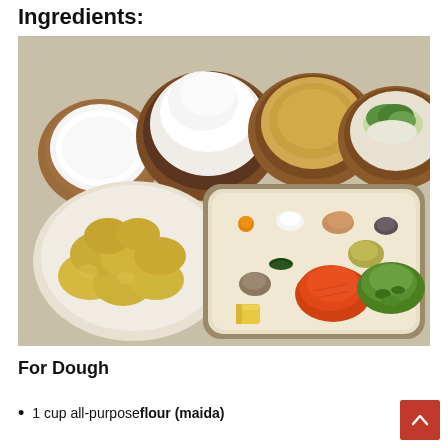Ingredients:
[Figure (photo): Ingredients for a recipe laid out on a table: bowls with milk/yogurt, flour, liquid (ghee/oil), and greens with onion; a plate with boiled potatoes; and a tray with various spices, grated carrot, chopped green onions, ginger paste, curry leaf, butter, turmeric, salt, cumin, and pepper.]
For Dough
1 cup all-purpose flour (maida)